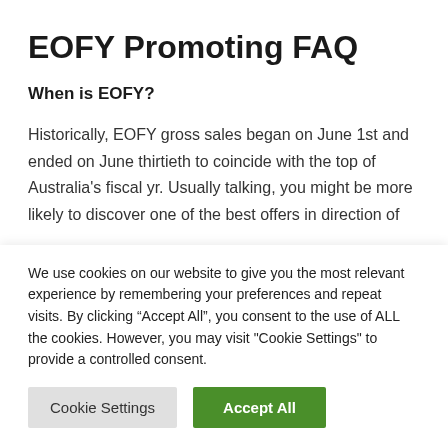EOFY Promoting FAQ
When is EOFY?
Historically, EOFY gross sales began on June 1st and ended on June thirtieth to coincide with the top of Australia's fiscal yr. Usually talking, you might be more likely to discover one of the best offers in direction of
We use cookies on our website to give you the most relevant experience by remembering your preferences and repeat visits. By clicking “Accept All”, you consent to the use of ALL the cookies. However, you may visit "Cookie Settings" to provide a controlled consent.